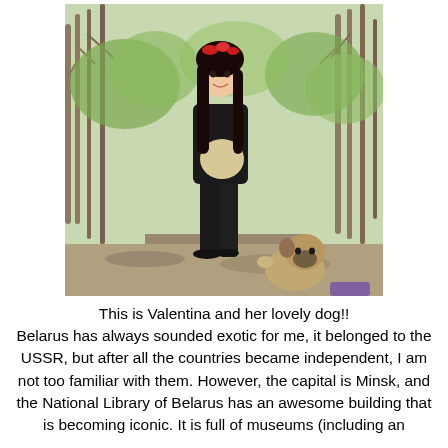[Figure (photo): A young woman with long dark hair and a red flower crown, wearing a black jacket and black pants with a beige top, standing on a dirt path in a park or forest with bare and leafy trees. A small pug dog is sitting near her feet on the path.]
This is Valentina and her lovely dog!! Belarus has always sounded exotic for me, it belonged to the USSR, but after all the countries became independent, I am not too familiar with them. However, the capital is Minsk, and the National Library of Belarus has an awesome building that is becoming iconic. It is full of museums (including an